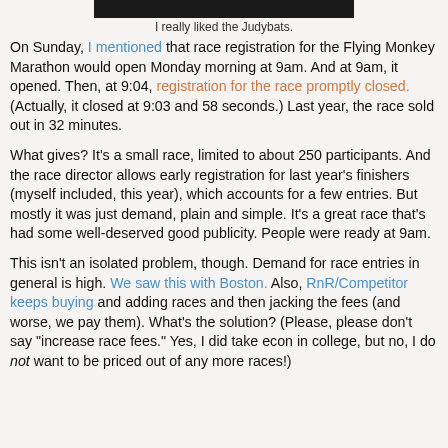[Figure (photo): Dark banner/image bar at top of page, partially obscured]
I really liked the Judybats.
On Sunday, I mentioned that race registration for the Flying Monkey Marathon would open Monday morning at 9am. And at 9am, it opened. Then, at 9:04, registration for the race promptly closed. (Actually, it closed at 9:03 and 58 seconds.) Last year, the race sold out in 32 minutes.
What gives? It's a small race, limited to about 250 participants. And the race director allows early registration for last year's finishers (myself included, this year), which accounts for a few entries. But mostly it was just demand, plain and simple. It's a great race that's had some well-deserved good publicity. People were ready at 9am.
This isn't an isolated problem, though. Demand for race entries in general is high. We saw this with Boston. Also, RnR/Competitor keeps buying and adding races and then jacking the fees (and worse, we pay them). What's the solution? (Please, please don't say "increase race fees." Yes, I did take econ in college, but no, I do not want to be priced out of any more races!)